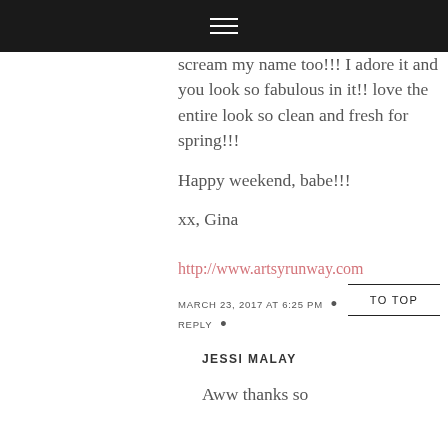≡
scream my name too!!! I adore it and you look so fabulous in it!! love the entire look so clean and fresh for spring!!!

Happy weekend, babe!!!

xx, Gina
http://www.artsyrunway.com
MARCH 23, 2017 AT 6:25 PM
REPLY
TO TOP
JESSI MALAY
Aww thanks so